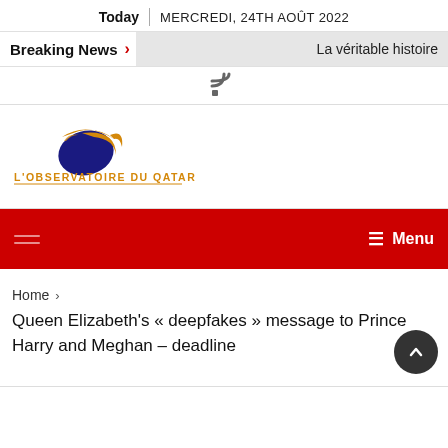Today | MERCREDI, 24TH AOÛT 2022
Breaking News › La véritable histoire
[Figure (logo): RSS feed icon]
[Figure (logo): L'Observatoire du Qatar logo — orange and navy globe with swoosh, text L'OBSERVATOIRE DU QATAR in orange below]
Menu
Home >
Queen Elizabeth's « deepfakes » message to Prince Harry and Meghan – deadline